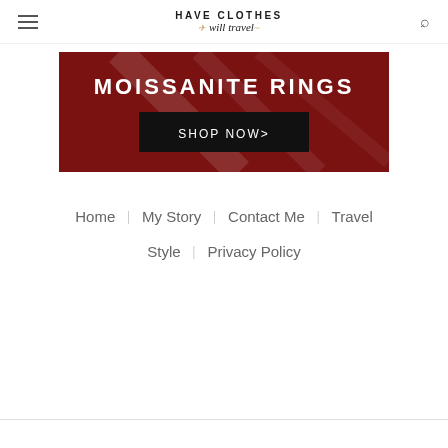Have Clothes Will Travel — navigation header with hamburger menu, logo, and search icon
[Figure (illustration): Red advertisement banner for Moissanite Rings with diagonal sheen lines, 'MOISSANITE RINGS' text in white, and a black 'SHOP NOW>' button]
Home  |  My Story  |  Contact Me  |  Travel  |  Style  |  Privacy Policy